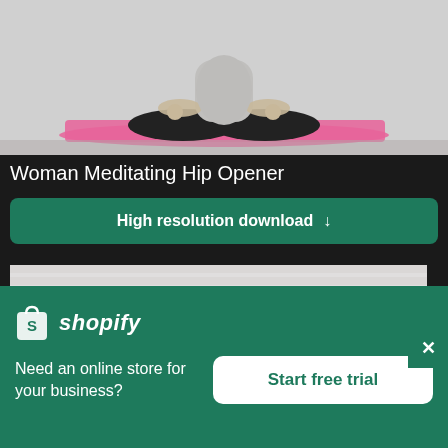[Figure (photo): Woman meditating in lotus pose on a pink yoga mat, photographed from the front against a light background. Partial view showing torso, crossed legs and pink mat.]
Woman Meditating Hip Opener
High resolution download ↓
[Figure (photo): Two women doing yoga stretches facing down, one in a pink top and one in a purple top, against a white brick wall background.]
×
[Figure (logo): Shopify logo — shopping bag icon with an 'S' and the word shopify in italic white text on green background.]
Need an online store for your business?
Start free trial